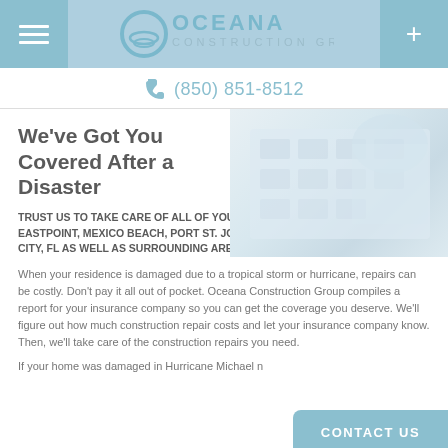Oceana Construction Group
(850) 851-8512
[Figure (photo): Faded/light photo of a multi-story building exterior]
We've Got You Covered After a Disaster
TRUST US TO TAKE CARE OF ALL OF YOUR HOME AND ROOF REPAIR NEEDS IN EASTPOINT, MEXICO BEACH, PORT ST. JOE, ST. GEORGE ISLAND & PANAMA CITY, FL AS WELL AS SURROUNDING AREA
When your residence is damaged due to a tropical storm or hurricane, repairs can be costly. Don't pay it all out of pocket. Oceana Construction Group compiles a report for your insurance company so you can get the coverage you deserve. We'll figure out how much construction repair costs and let your insurance company know. Then, we'll take care of the construction repairs you need.
If your home was damaged in Hurricane Michael n